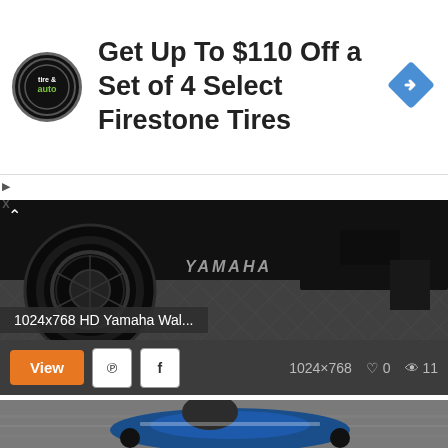[Figure (infographic): Advertisement banner: circular tire & auto logo, text 'Get Up To $110 Off a Set of 4 Select Firestone Tires', blue diamond navigation arrow icon on right]
[Figure (photo): Close-up photo of a Yamaha motorcycle wheel and lower bodywork on a textured metal surface, showing brake disc and Yamaha branding]
1024x768 HD Yamaha Wal...
View   1024×768   ♡ 0   👁 11
[Figure (photo): Photo of a rider on a blue Yamaha R1 sport motorcycle leaning into a turn on a racing circuit]